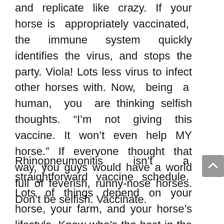and replicate like crazy. If your horse is appropriately vaccinated, the immune system quickly identifies the virus, and stops the party. Viola! Lots less virus to infect other horses with. Now, being a human, you are thinking selfish thoughts. “I’m not giving this vaccine. It won’t even help MY horse.” If everyone thought that way, you guys would have a world full of feverish, runny-nose horses. Don’t be selfish. Vaccinate.
Rhinopneumonitis isn’t a straightforward vaccine schedule. Lots of things depend on your horse, your farm, and your horse’s lifestyle. Know who’s the best in the entire world at getting your vaccine schedule right?